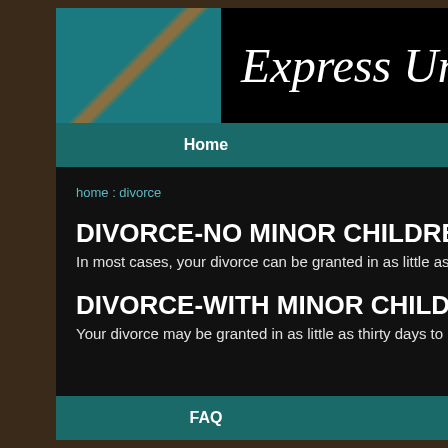[Figure (screenshot): Website header with teal/blue decorative image on left and italic white text 'Express Unc' (partially cropped) on black background]
Home  Divorce
home : divorce
DIVORCE-NO MINOR CHILDREN
In most cases, your divorce can be granted in as little as te...
DIVORCE-WITH MINOR CHILDREN
Your divorce may be granted in as little as thirty days to nin...
FAQ  Testimonials